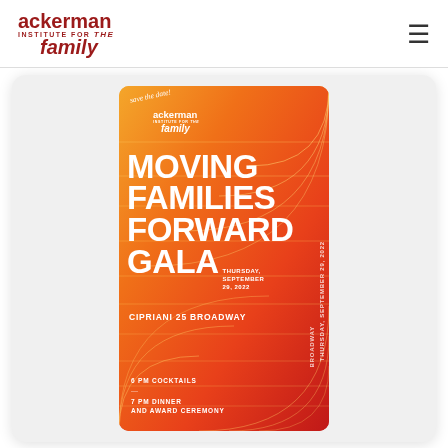ackerman institute for the family — navigation menu
[Figure (illustration): Save the date card for the Moving Families Forward Gala — orange to red gradient background with decorative arc lines, featuring the Ackerman Institute for the Family logo, event title 'Moving Families Forward Gala', date Thursday September 29 2022, venue Cipriani 25 Broadway, with 6 PM Cocktails and 7 PM Dinner and Award Ceremony details.]